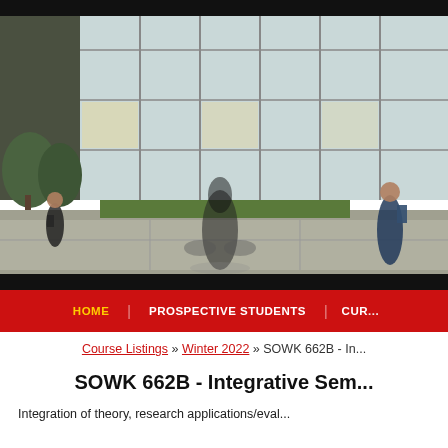[Figure (photo): University campus photo showing students walking and cycling in front of a modern glass building with trees and landscaping.]
HOME   PROSPECTIVE STUDENTS   CUR...
Course Listings » Winter 2022 » SOWK 662B - In...
SOWK 662B - Integrative Sem...
Integration of theory, research applications/eval...